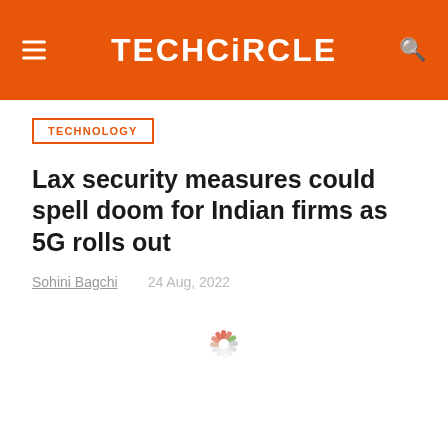TECHCiRCLE
TECHNOLOGY
Lax security measures could spell doom for Indian firms as 5G rolls out
Sohini Bagchi   24 Aug, 2022
[Figure (other): Loading spinner animation graphic]
[Figure (other): Loading spinner animation graphic]